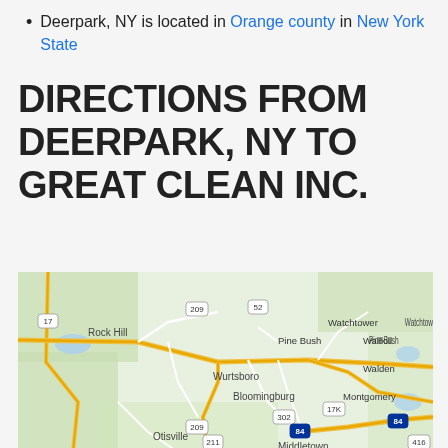Deerpark, NY is located in Orange county in New York State
DIRECTIONS FROM DEERPARK, NY TO GREAT CLEAN INC.
[Figure (map): Google Maps view showing the region around Deerpark, NY and surrounding areas including Rock Hill, Wurtsboro, Bloomingburg, Otisville, Middletown, Pine Bush, Wallkill, Walden, Montgomery, Watchtower. Roads and highways including 17, 209, 52, 302, 17K, 84, 211, 416 are visible.]